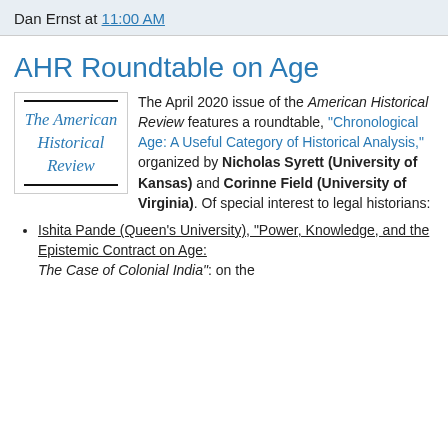Dan Ernst at 11:00 AM
AHR Roundtable on Age
[Figure (illustration): Cover image of The American Historical Review journal, showing the title in blue italic text on a white background with black horizontal rules at top and bottom.]
The April 2020 issue of the American Historical Review features a roundtable, "Chronological Age: A Useful Category of Historical Analysis," organized by Nicholas Syrett (University of Kansas) and Corinne Field (University of Virginia). Of special interest to legal historians:
Ishita Pande (Queen's University), "Power, Knowledge, and the Epistemic Contract on Age: The Case of Colonial India": on the